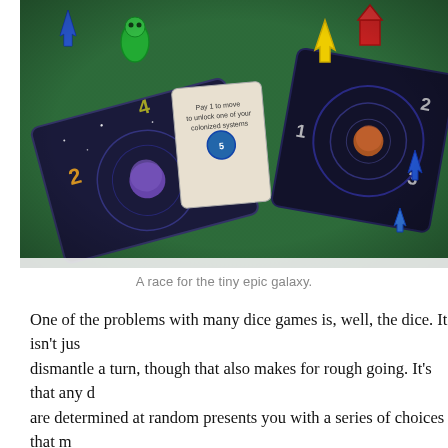[Figure (photo): Board game photo showing colorful plastic spaceship meeples (blue, green, yellow, red) on space-themed game cards and boards on a green fabric surface. Tiny Epic Galaxies game components visible.]
A race for the tiny epic galaxy.
One of the problems with many dice games is, well, the dice. It isn't just that a bad roll can dismantle a turn, though that also makes for rough going. It's that any dice-rolling game where actions are determined at random presents you with a series of choices that may not align with your plans. In too many cases, the tempo slows to larghetto while the current player mulls over their freshly-rolled options. When all a player can do is react, forethought becomes meaningless. Little surprise that some dice games feature three-quarters of the table staring at their phones while they await their turn.
A good dice game, then, gives you plenty of ways to ameliorate the whims of chance, to put control back in your hands.
Tiny Epic Galaxies is one such game. But let's not get ahead of ourselves.
Like every other starfaring civilization that has come before, the goal o